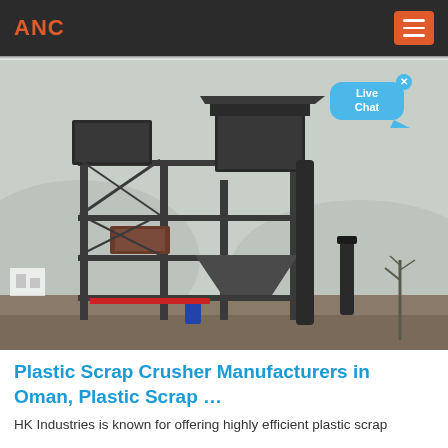ANC
[Figure (photo): Industrial plastic scrap crusher / multi-story crushing plant machine on an outdoor construction site, misty mountainous background, with a Live Chat bubble overlay in the top right corner.]
Plastic Scrap Crusher Manufacturers in Oman, Plastic Scrap …
HK Industries is known for offering highly efficient plastic scrap